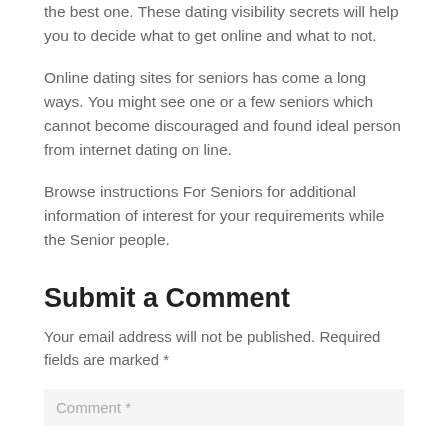the best one. These dating visibility secrets will help you to decide what to get online and what to not.
Online dating sites for seniors has come a long ways. You might see one or a few seniors which cannot become discouraged and found ideal person from internet dating on line.
Browse instructions For Seniors for additional information of interest for your requirements while the Senior people.
Submit a Comment
Your email address will not be published. Required fields are marked *
Comment *